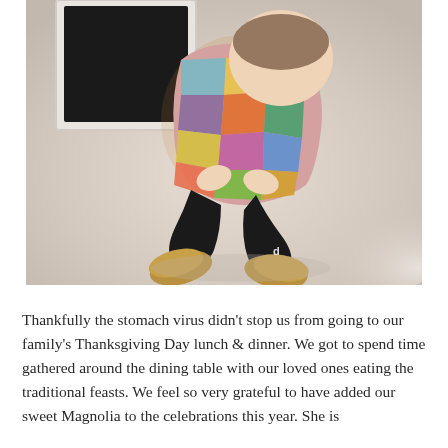[Figure (photo): An overhead photo of a baby/toddler sitting on a beige carpet wearing a colorful patchwork plaid outfit and gold-soled shoes with black socks. A white-framed dark board is visible in the upper left background.]
Thankfully the stomach virus didn't stop us from going to our family's Thanksgiving Day lunch & dinner. We got to spend time gathered around the dining table with our loved ones eating the traditional feasts. We feel so very grateful to have added our sweet Magnolia to the celebrations this year. She is